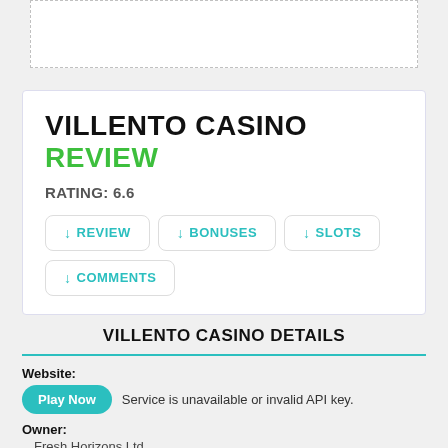VILLENTO CASINO REVIEW
RATING: 6.6
↓ REVIEW
↓ BONUSES
↓ SLOTS
↓ COMMENTS
VILLENTO CASINO DETAILS
Website:
Play Now   Service is unavailable or invalid API key.
Owner:
Fresh Horizons Ltd.